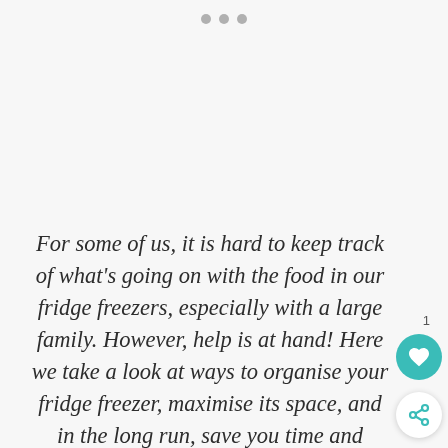For some of us, it is hard to keep track of what's going on with the food in our fridge freezers, especially with a large family. However, help is at hand! Here we take a look at ways to organise your fridge freezer, maximise its space, and in the long run, save you time and money.